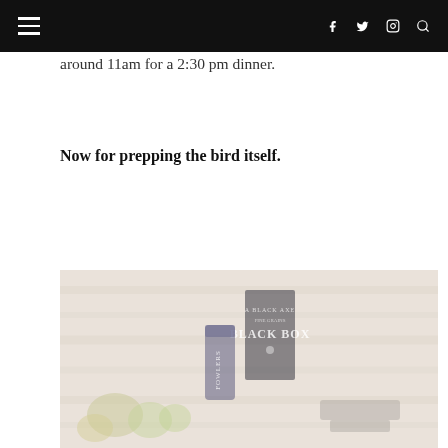Navigation bar with hamburger menu, social icons (Facebook, Twitter, Instagram), and search icon
around 11am for a 2:30 pm dinner.
Now for prepping the bird itself.
[Figure (photo): A faded/washed-out photo of cooking ingredients on a wooden cutting board, including a can labeled 'FOWLERS', a black box labeled 'BLACK BOX', lemons/limes, and other bird prep ingredients.]